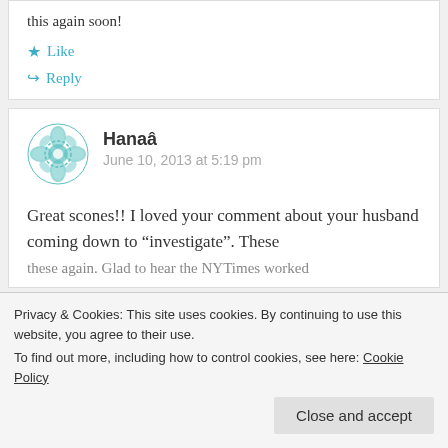this again soon!
Like
Reply
Hanaâ
June 10, 2013 at 5:19 pm
Great scones!! I loved your comment about your husband coming down to “investigate”. These
Privacy & Cookies: This site uses cookies. By continuing to use this website, you agree to their use. To find out more, including how to control cookies, see here: Cookie Policy
Close and accept
these again. Glad to hear the NYTimes worked